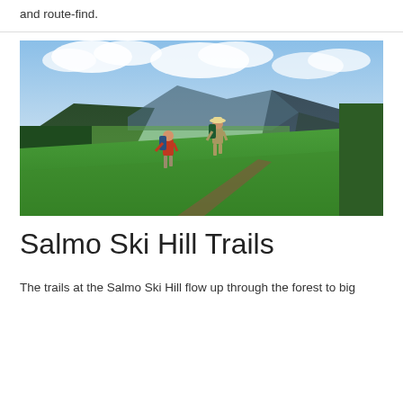and route-find.
[Figure (photo): Two hikers with backpacks walking up a grassy hillside trail with a wide mountain valley and forested slopes visible in the background under a partly cloudy sky.]
Salmo Ski Hill Trails
The trails at the Salmo Ski Hill flow up through the forest to big